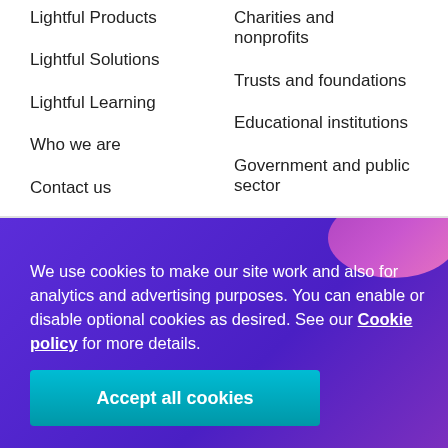Lightful Products
Lightful Solutions
Lightful Learning
Who we are
Contact us
Join us
Charities and nonprofits
Trusts and foundations
Educational institutions
Government and public sector
We use cookies to make our site work and also for analytics and advertising purposes. You can enable or disable optional cookies as desired. See our Cookie policy for more details.
Accept all cookies